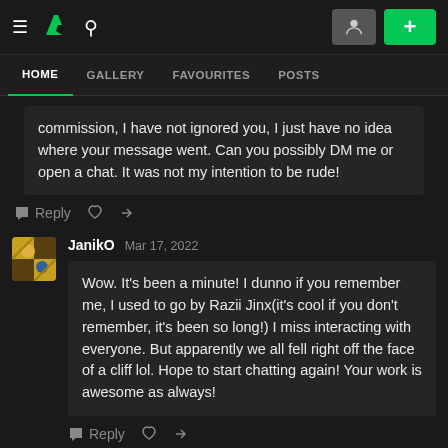DeviantArt navigation bar with hamburger menu, logo, search icon, profile button, and plus button
HOME | GALLERY | FAVOURITES | POSTS
commission, I have not ignored you, I just have no idea where your message went. Can you possibly DM me or open a chat. It was not my intention to be rude!
Reply
JanikO  Mar 17, 2022
Wow. It's been a minute! I dunno if you remember me, I used to go by Razii Jinx(it's cool if you don't remember, it's been so long!) I miss interacting with everyone. But apparently we all fell right off the face of a cliff lol. Hope to start chatting again! Your work is awesome as always!
Reply